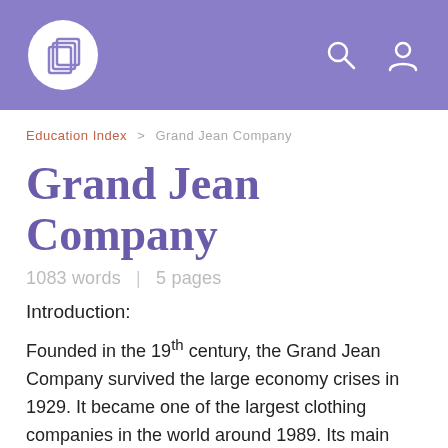Grand Jean Company — Education Index
Education Index > Grand Jean Company
Grand Jean Company
1083 words  |  5 pages
Introduction:
Founded in the 19th century, the Grand Jean Company survived the large economy crises in 1929. It became one of the largest clothing companies in the world around 1989. Its main products are pants for men and boys. But also women pants are produced there. With the “wash-and-wear”, bell-bottom and flare leans and